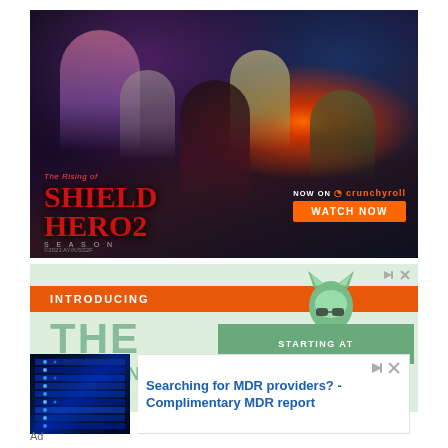[Figure (illustration): Advertisement for 'The Rising of the Shield Hero Season 2' anime - dark fantasy illustration with anime characters, red and orange glow effects, title text in red/dark styling, 'NOW ON crunchyroll' and 'WATCH NOW' orange button]
[Figure (illustration): Advertisement with light green background, orange bar saying 'INTRODUCING', cartoon fox mascot peeking over a green box that says 'STARTING AT', large teal text 'THE' visible]
[Figure (photo): Advertisement showing blue-lit data center server racks with glowing blue lights]
Searching for MDR providers? - Complimentary MDR report
Ad